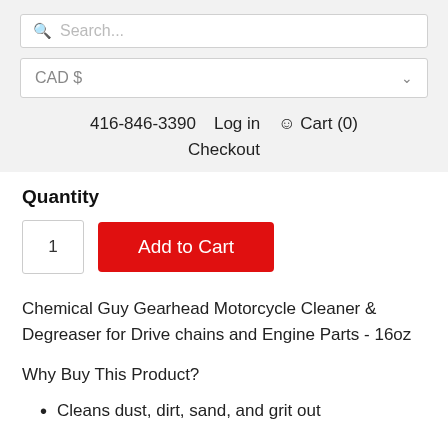Search...
CAD $
416-846-3390  Log in  Cart (0)  Checkout
Quantity
1  Add to Cart
Chemical Guy Gearhead Motorcycle Cleaner & Degreaser for Drive chains and Engine Parts - 16oz
Why Buy This Product?
Cleans dust, dirt, sand, and grit out